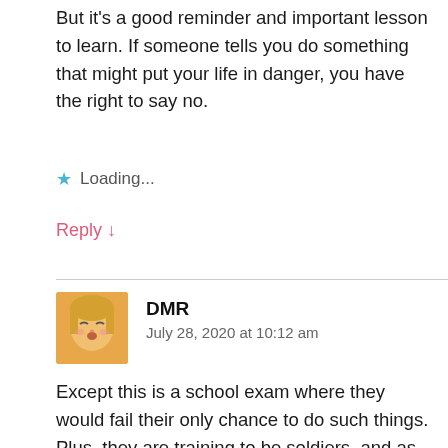But it's a good reminder and important lesson to learn. If someone tells you do something that might put your life in danger, you have the right to say no.
Loading...
Reply ↓
DMR
July 28, 2020 at 10:12 am
Except this is a school exam where they would fail their only chance to do such things. Plus, they are training to be soldiers, and as such, have to obey orders…
If they were just put in a position where they had to fight the thing without being told to, that'd be one thing… but